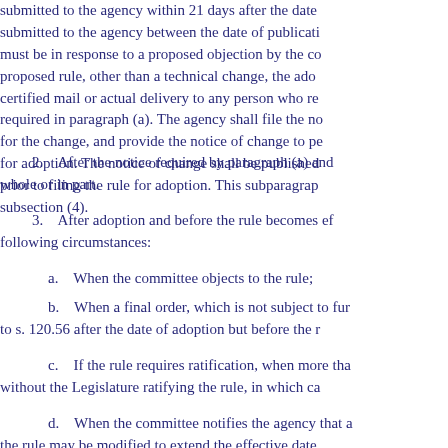submitted to the agency within 21 days after the date submitted to the agency between the date of publication must be in response to a proposed objection by the co proposed rule, other than a technical change, the adop certified mail or actual delivery to any person who re required in paragraph (a). The agency shall file the no for the change, and provide the notice of change to pe for adoption. The notice of change shall be published prior to filing the rule for adoption. This subparagrap subsection (4).
2.   After the notice required by paragraph (a) and whole or in part.
3.   After adoption and before the rule becomes ef following circumstances:
a.   When the committee objects to the rule;
b.   When a final order, which is not subject to fur to s. 120.56 after the date of adoption but before the r
c.   If the rule requires ratification, when more tha without the Legislature ratifying the rule, in which ca
d.   When the committee notifies the agency that a the rule may be modified to extend the effective date
4.   The agency shall give notice of its decision to publication in which the original notice of rulemaking